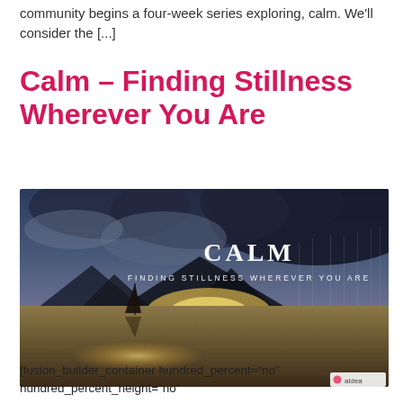community begins a four-week series exploring, calm. We'll consider the [...]
Calm – Finding Stillness Wherever You Are
[Figure (photo): Dramatic landscape photo of a small sailboat on a still lake with stormy skies, mountains, and golden light reflecting on the water. White text overlay reads 'CALM' and 'FINDING STILLNESS WHEREVER YOU ARE'. Small 'aldea' logo in bottom right corner.]
[fusion_builder_container hundred_percent="no" hundred_percent_height="no"